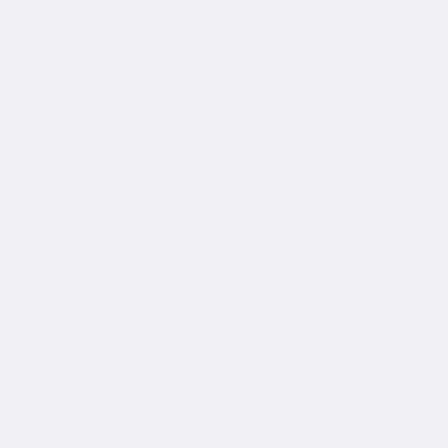systems), and talked with Anda about the and the upcoming move to their new digs evening, and, as Matt said more than on name.
Much thanks to Etsy admin for coming al
Posted at 01:10 AM | Permalink
Comments
You can follow this conversation by su post.
"I mentioned the problem of lack of clarit frequently the flagged item is not mentio which item to address - and Matt said thi said Etsy takes full responsibility for that
--------------------------
I am so glad you asked that question, it i creates so much extra work for the staff a leading to forum threads which then get b with questions, which of course the selle